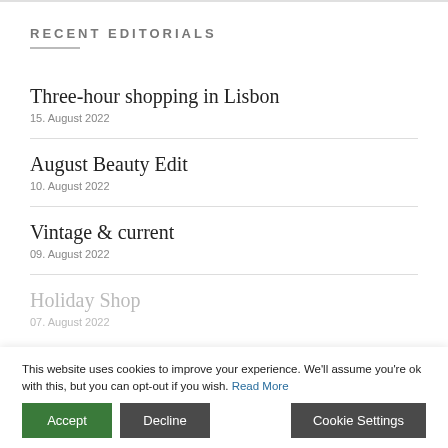RECENT EDITORIALS
Three-hour shopping in Lisbon
15. August 2022
August Beauty Edit
10. August 2022
Vintage & current
09. August 2022
Holiday Shop
07. August 2022
This website uses cookies to improve your experience. We'll assume you're ok with this, but you can opt-out if you wish. Read More
Accept | Decline | Cookie Settings